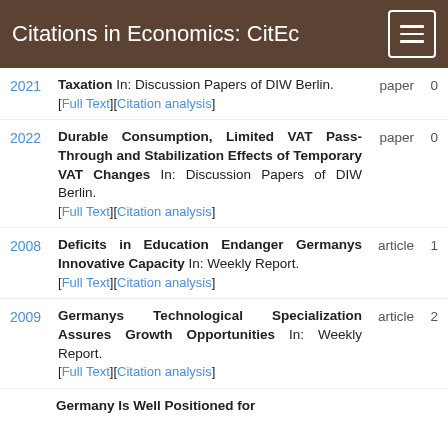Citations in Economics: CitEc
2021 | Taxation In: Discussion Papers of DIW Berlin. [Full Text][Citation analysis] | paper | 0
2022 | Durable Consumption, Limited VAT Pass-Through and Stabilization Effects of Temporary VAT Changes In: Discussion Papers of DIW Berlin. [Full Text][Citation analysis] | paper | 0
2008 | Deficits in Education Endanger Germanys Innovative Capacity In: Weekly Report. [Full Text][Citation analysis] | article | 1
2009 | Germanys Technological Specialization Assures Growth Opportunities In: Weekly Report. [Full Text][Citation analysis] | article | 2
Germany Is Well Positioned for ...